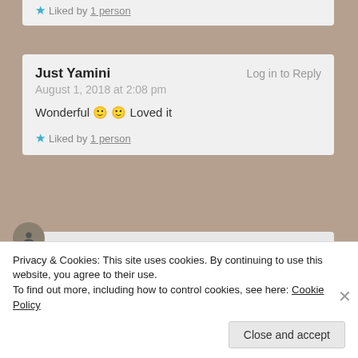★ Liked by 1 person
Just Yamini — Log in to Reply
August 1, 2018 at 2:08 pm

Wonderful 🙂 🙂 Loved it

★ Liked by 1 person
Neha Sharma — Log in to Reply
August 1, 2018 at 2:41 pm
Privacy & Cookies: This site uses cookies. By continuing to use this website, you agree to their use.
To find out more, including how to control cookies, see here: Cookie Policy

Close and accept